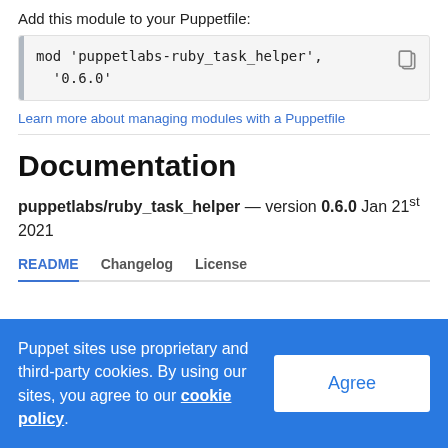Add this module to your Puppetfile:
mod 'puppetlabs-ruby_task_helper',
  '0.6.0'
Learn more about managing modules with a Puppetfile
Documentation
puppetlabs/ruby_task_helper — version 0.6.0 Jan 21st 2021
README  Changelog  License
Puppet sites use proprietary and third-party cookies. By using our sites, you agree to our cookie policy.